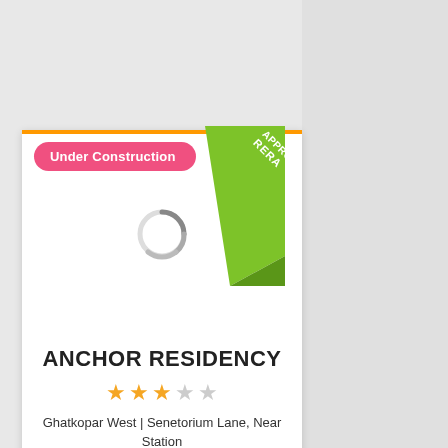[Figure (screenshot): Real estate listing card for Anchor Residency with orange top border, pink Under Construction badge, green RERA Approved ribbon, loading spinner image placeholder, star rating, location, property type, and possession info.]
ANCHOR RESIDENCY
Ghatkopar West | Senetorium Lane, Near Station
2 BHK apartments
Possession: Dec 2020
Last updated : Mar 22